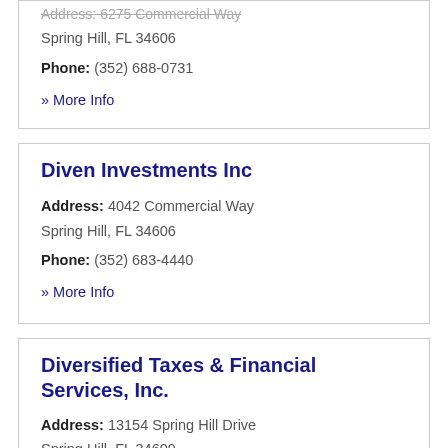Address: 6275 Commercial Way Spring Hill, FL 34606
Phone: (352) 688-0731
» More Info
Diven Investments Inc
Address: 4042 Commercial Way Spring Hill, FL 34606
Phone: (352) 683-4440
» More Info
Diversified Taxes & Financial Services, Inc.
Address: 13154 Spring Hill Drive Spring Hill, FL 34609